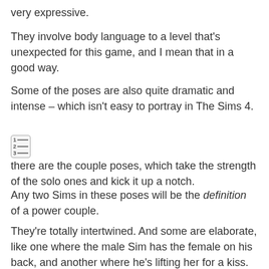very expressive.
They involve body language to a level that's unexpected for this game, and I mean that in a good way.
Some of the poses are also quite dramatic and intense – which isn't easy to portray in The Sims 4.
Then there are the couple poses, which take the strength of the solo ones and kick it up a notch.
Any two Sims in these poses will be the definition of a power couple.
They're totally intertwined. And some are elaborate, like one where the male Sim has the female on his back, and another where he's lifting her for a kiss.